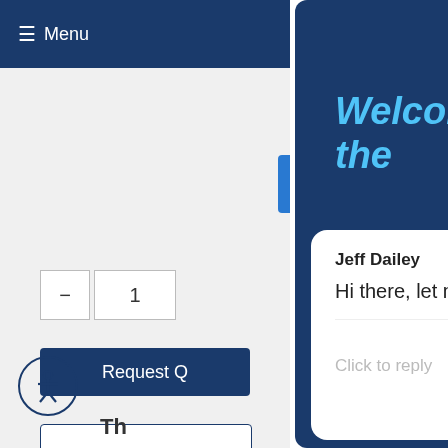≡ Menu
Request Q
Welcome to the
Jeff Dailey
Hi there, let me know if you have any questions :)
Powered by gorgias
Click to reply
Enter your name
Enter your phone number
Th